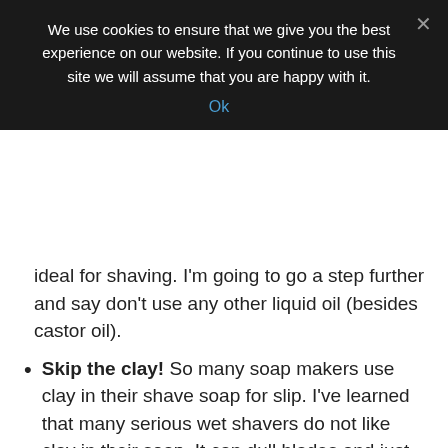We use cookies to ensure that we give you the best experience on our website. If you continue to use this site we will assume that you are happy with it.
Ok
ideal for shaving. I'm going to go a step further and say don't use any other liquid oil (besides castor oil).
Skip the clay! So many soap makers use clay in their shave soap for slip. I've learned that many serious wet shavers do not like clay in their soap. It can dull blades and just isn't needed.
Use high stearic oils and butters for most of the recipe. Stearic acid is excellent for the bulk of your recipe. Butters and tallow/lard are next. If you are palm free, try soy wax